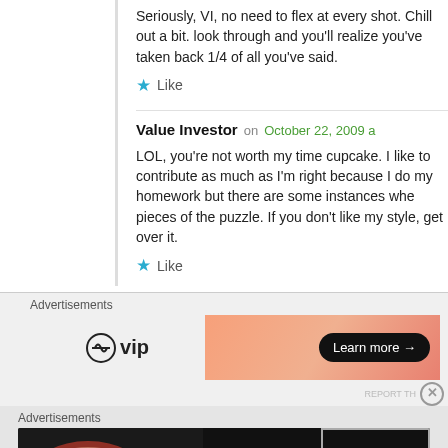Seriously, VI, no need to flex at every shot. Chill out a bit. look through and you'll realize you've taken back 1/4 of all you've said.
Like
Value Investor on October 22, 2009 a
LOL, you're not worth my time cupcake. I like to contribute as much as I'm right because I do my homework but there are some instances where pieces of the puzzle. If you don't like my style, get over it.
Like
Advertisements
[Figure (other): WordPress VIP advertisement banner with 'Learn more' button on gradient background]
REPORT THIS A
Advertisements
[Figure (other): Seamless food ordering advertisement banner with pizza image, Seamless logo and ORDER NOW button]